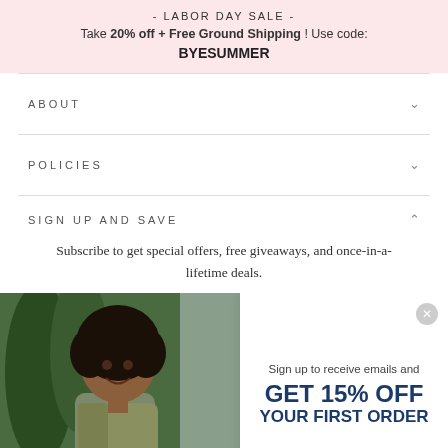- LABOR DAY SALE - Take 20% off + Free Ground Shipping ! Use code: BYESUMMER
ABOUT
POLICIES
SIGN UP AND SAVE
Subscribe to get special offers, free giveaways, and once-in-a-lifetime deals.
[Figure (photo): Woman with curly hair smiling outdoors near green bushes, wearing a khaki jacket]
Sign up to receive emails and GET 15% OFF YOUR FIRST ORDER